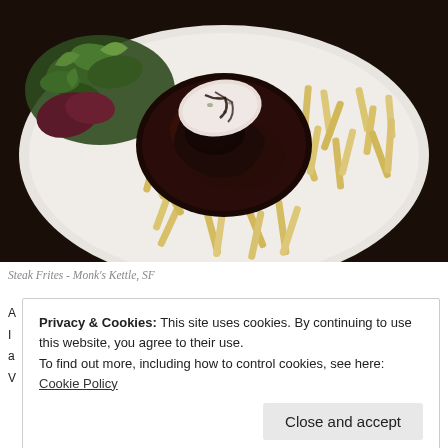[Figure (photo): A plate of steak frites (steak with french fries and mixed green salad) on a white plate, photographed at Monk's Kettle, SF. The steak has a dark glaze and is topped with a pat of herb butter.]
Steak Frites - Monk's Kettle, SF
Privacy & Cookies: This site uses cookies. By continuing to use this website, you agree to their use.
To find out more, including how to control cookies, see here: Cookie Policy
Close and accept